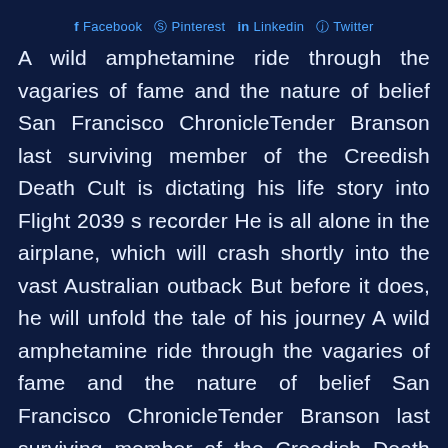Facebook Pinterest Linkedin Twitter
A wild amphetamine ride through the vagaries of fame and the nature of belief San Francisco ChronicleTender Branson last surviving member of the Creedish Death Cult is dictating his life story into Flight 2039 s recorder He is all alone in the airplane, which will crash shortly into the vast Australian outback But before it does, he will unfold the tale of his journey A wild amphetamine ride through the vagaries of fame and the nature of belief San Francisco ChronicleTender Branson last surviving member of the Creedish Death Cult is dictating his life story into Flight 2039 s recorder He is all alone